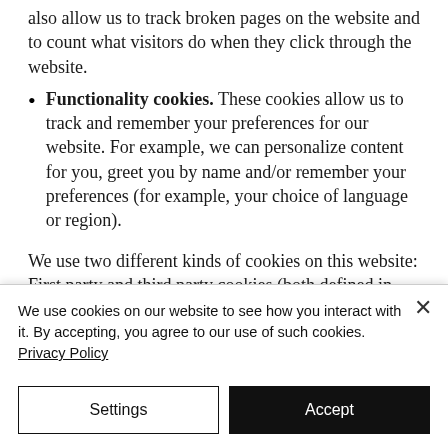also allow us to track broken pages on the website and to count what visitors do when they click through the website.
Functionality cookies. These cookies allow us to track and remember your preferences for our website. For example, we can personalize content for you, greet you by name and/or remember your preferences (for example, your choice of language or region).
We use two different kinds of cookies on this website: First party and third party cookies (both defined in detail on the
We use cookies on our website to see how you interact with it. By accepting, you agree to our use of such cookies. Privacy Policy